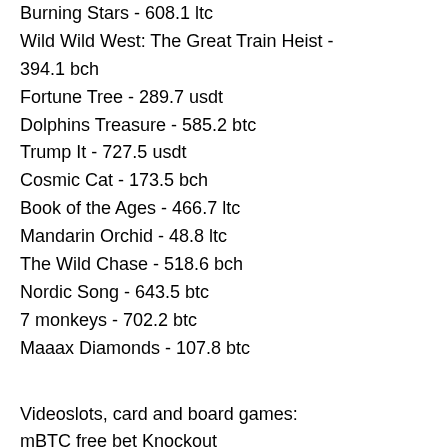Burning Stars - 608.1 ltc
Wild Wild West: The Great Train Heist - 394.1 bch
Fortune Tree - 289.7 usdt
Dolphins Treasure - 585.2 btc
Trump It - 727.5 usdt
Cosmic Cat - 173.5 bch
Book of the Ages - 466.7 ltc
Mandarin Orchid - 48.8 ltc
The Wild Chase - 518.6 bch
Nordic Song - 643.5 btc
7 monkeys - 702.2 btc
Maaax Diamonds - 107.8 btc
Videoslots, card and board games:
mBTC free bet Knockout
Vegas Crest Casino Hobo's Hoard
King Billy Casino Twerk
BitcoinCasino.us Jetsetter
Vegas Crest Casino Jimi Hendrix
mBTC free bet Fire Bird